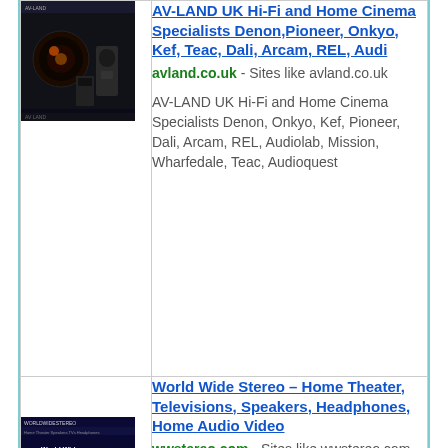[Figure (screenshot): Screenshot thumbnail of AV-LAND UK website showing home cinema speakers and equipment on dark background]
AV-LAND UK Hi-Fi and Home Cinema Specialists Denon,Pioneer, Onkyo, Kef, Teac, Dali, Arcam, REL, Audi
avland.co.uk - Sites like avland.co.uk

AV-LAND UK Hi-Fi and Home Cinema Specialists Denon, Onkyo, Kef, Pioneer, Dali, Arcam, REL, Audiolab, Mission, Wharfedale, Teac, Audioquest
[Figure (screenshot): Screenshot thumbnail of World Wide Stereo website on dark blue background]
World Wide Stereo – Home Theater, Televisions, Speakers, Headphones, Home Audio Video
wwstereo.com - Sites like wwstereo.com